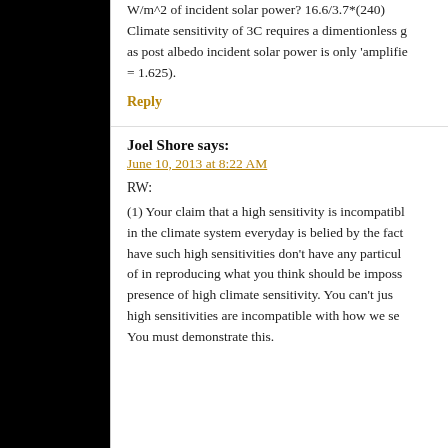W/m^2 of incident solar power? 16.6/3.7*(240) Climate sensitivity of 3C requires a dimentionless g as post albedo incident solar power is only 'amplifie = 1.625).
Reply
Joel Shore says:
June 10, 2013 at 8:22 AM
RW:
(1) Your claim that a high sensitivity is incompatibl in the climate system everyday is belied by the fact have such high sensitivities don't have any particul of in reproducing what you think should be imposs presence of high climate sensitivity. You can't jus high sensitivities are incompatible with how we se You must demonstrate this.